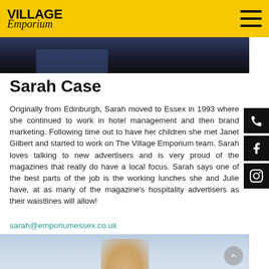The Village Emporium
[Figure (photo): Top portion of a person's photo, dark background, partial view of clothing]
Sarah Case
Originally from Edinburgh, Sarah moved to Essex in 1993 where she continued to work in hotel management and then brand marketing. Following time out to have her children she met Janet Gilbert and started to work on The Village Emporium team. Sarah loves talking to new advertisers and is very proud of the magazines that really do have a local focus. Sarah says one of the best parts of the job is the working lunches she and Julie have, at as many of the magazine's hospitality advertisers as their waistlines will allow!
sarah@emporiumessex.co.uk
[Figure (photo): Bottom portion of a person's photo showing hair and outdoor background]